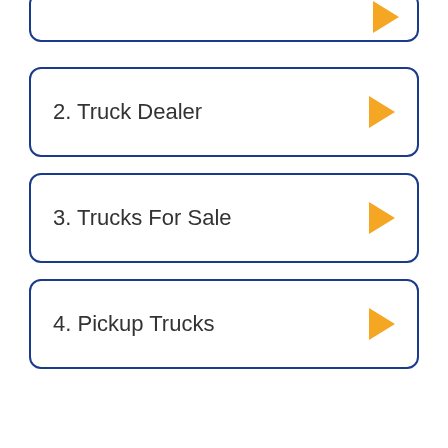2. Truck Dealer
3. Trucks For Sale
4. Pickup Trucks